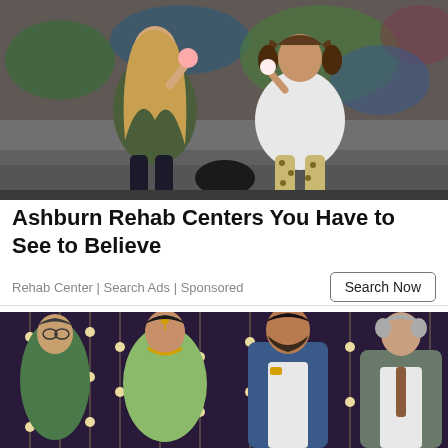[Figure (photo): Two young women sitting against a graffiti wall outdoors at night, one with long blonde hair in a green jacket eating something, the other with curly hair in a white top with leopard print leggings, handbag on ground between them]
Ashburn Rehab Centers You Have to See to Believe
Rehab Center | Search Ads | Sponsored
Search Now
[Figure (photo): Group of four people at an Indian wedding or formal event — an older woman in green sari, a young woman in ornate bridal attire with jewelry, a bearded man in blue suit, and an older man in suit with tie, decorative string lights in background]